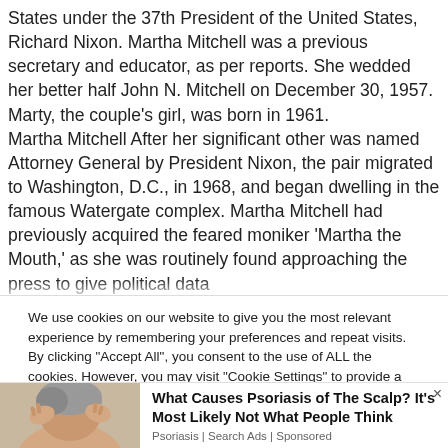States under the 37th President of the United States, Richard Nixon. Martha Mitchell was a previous secretary and educator, as per reports. She wedded her better half John N. Mitchell on December 30, 1957. Marty, the couple's girl, was born in 1961. Martha Mitchell After her significant other was named Attorney General by President Nixon, the pair migrated to Washington, D.C., in 1968, and began dwelling in the famous Watergate complex. Martha Mitchell had previously acquired the feared moniker 'Martha the Mouth,' as she was routinely found approaching the press to give political data
We use cookies on our website to give you the most relevant experience by remembering your preferences and repeat visits. By clicking "Accept All", you consent to the use of ALL the cookies. However, you may visit "Cookie Settings" to provide a controlled consent.
[Figure (photo): Person holding their head/scalp, with gray hair visible, used as ad image for psoriasis article]
What Causes Psoriasis of The Scalp? It's Most Likely Not What People Think
Psoriasis | Search Ads | Sponsored